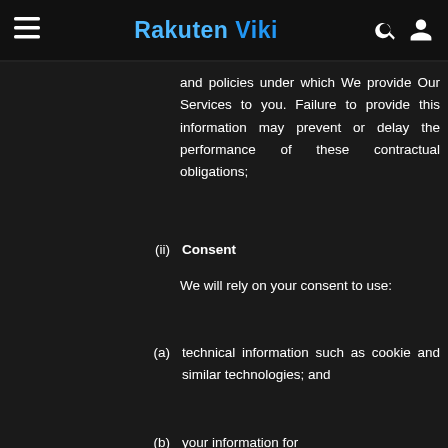Rakuten Viki
and policies under which We provide Our Services to you. Failure to provide this information may prevent or delay the performance of these contractual obligations;
(ii) Consent
We will rely on your consent to use:
(a) technical information such as cookie and similar technologies; and
(b) your information for